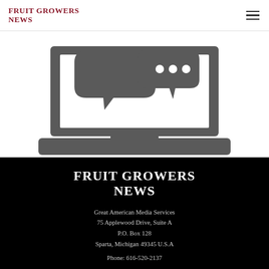Fruit Growers News
[Figure (illustration): Gray icon of a laptop computer with two speech/chat bubbles above the screen on a white background]
Fruit Growers News
Great American Media Services
75 Applewood Drive, Suite A
P.O. Box 128
Sparta, Michigan 49345 U.S.A
Phone: 616-520-2137